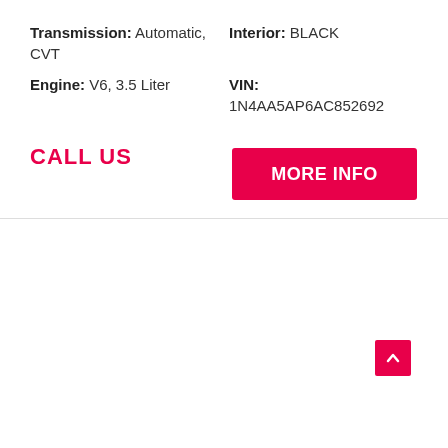Transmission: Automatic, CVT
Interior: BLACK
Engine: V6, 3.5 Liter
VIN: 1N4AA5AP6AC852692
CALL US
MORE INFO
[Figure (photo): White Mitsubishi SUV (Outlander Sport) photographed at Ride Plaza dealership lot. Dealer banner shows: RIDE PLAZA, www.rideplaza.com, (770) 837-2153]